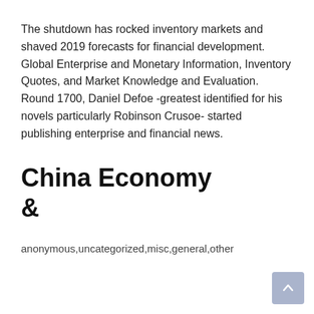The shutdown has rocked inventory markets and shaved 2019 forecasts for financial development. Global Enterprise and Monetary Information, Inventory Quotes, and Market Knowledge and Evaluation. Round 1700, Daniel Defoe -greatest identified for his novels particularly Robinson Crusoe- started publishing enterprise and financial news.
China Economy &#38
anonymous,uncategorized,misc,general,other